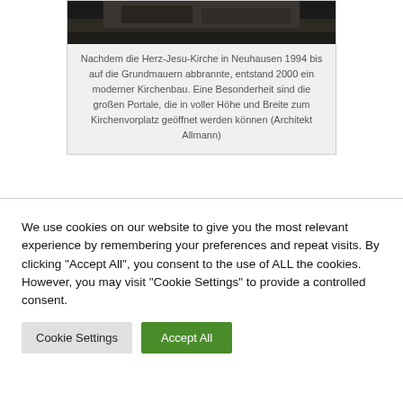[Figure (photo): Dark photograph of church exterior, partially visible at top of card]
Nachdem die Herz-Jesu-Kirche in Neuhausen 1994 bis auf die Grundmauern abbrannte, entstand 2000 ein moderner Kirchenbau. Eine Besonderheit sind die großen Portale, die in voller Höhe und Breite zum Kirchenvorplatz geöffnet werden können (Architekt Allmann)
We use cookies on our website to give you the most relevant experience by remembering your preferences and repeat visits. By clicking "Accept All", you consent to the use of ALL the cookies. However, you may visit "Cookie Settings" to provide a controlled consent.
Cookie Settings
Accept All